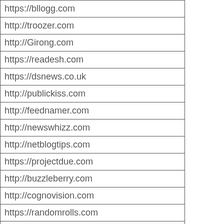| https://bllogg.com |
| http://troozer.com |
| http://Girong.com |
| https://readesh.com |
| https://dsnews.co.uk |
| http://publickiss.com |
| http://feednamer.com |
| http://newswhizz.com |
| http://netblogtips.com |
| https://projectdue.com |
| http://buzzleberry.com |
| http://cognovision.com |
| https://randomrolls.com |
| https://goarticlecity.com |
| https://advisorknock.com |
| http://cipelicastiklica.com |